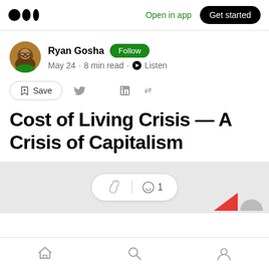Medium logo | Open in app | Get started
Ryan Gosha  Follow
May 24 · 8 min read · Listen
Save (share icons: Twitter, Facebook, LinkedIn, Link)
Cost of Living Crisis — A Crisis of Capitalism
[Figure (screenshot): Gray image area with clap/comment bar showing clap icon and comment icon with count 1, and partial red arrow icon]
Home | Search | Profile (bottom navigation bar)